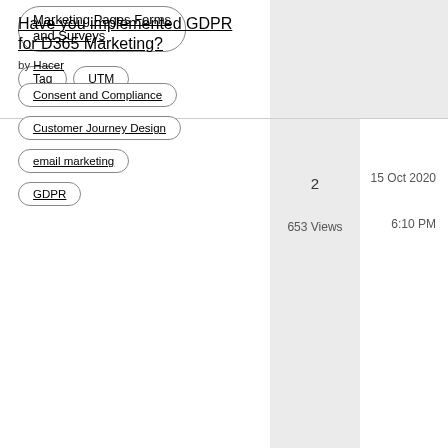Marketing Pages Forms and Surveys
Tag
UTM
Have you implemented GDPR for D365 Marketing?
by Hacer
Consent and Compliance
Customer Journey Design
email marketing
GDPR
2
653 Views
15 Oct 2020
6:10 PM